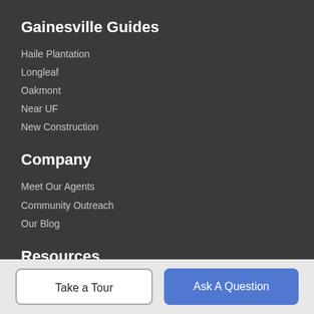Gainesville Guides
Haile Plantation
Longleaf
Oakmont
Near UF
New Construction
Company
Meet Our Agents
Community Outreach
Our Blog
Resources
Take a Tour
Ask A Question